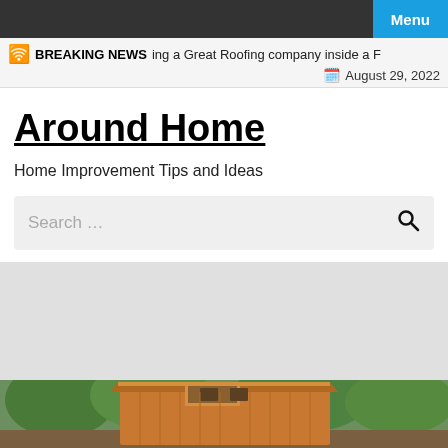Menu
BREAKING NEWS  ing a Great Roofing company inside a F  August 29, 2022
Around Home
Home Improvement Tips and Ideas
Search …
[Figure (photo): Wooden shed/outbuilding with a flat-ish roof featuring a skylight window, surrounded by trees with green foliage in background]